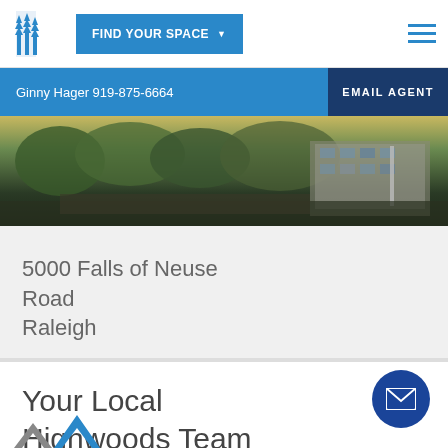FIND YOUR SPACE
Ginny Hager 919-875-6664
EMAIL AGENT
[Figure (photo): Exterior photograph of a commercial office building at 5000 Falls of Neuse Road, Raleigh, with trees in foreground]
5000 Falls of Neuse Road
Raleigh
Your Local Highwoods Team